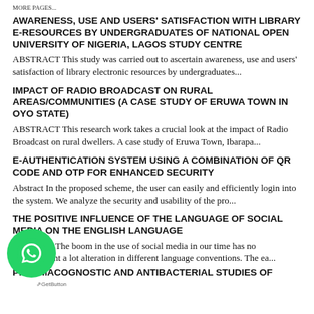MORE PAGES...
AWARENESS, USE AND USERS' SATISFACTION WITH LIBRARY E-RESOURCES BY UNDERGRADUATES OF NATIONAL OPEN UNIVERSITY OF NIGERIA, LAGOS STUDY CENTRE
ABSTRACT This study was carried out to ascertain awareness, use and users' satisfaction of library electronic resources by undergraduates...
IMPACT OF RADIO BROADCAST ON RURAL AREAS/COMMUNITIES (A CASE STUDY OF ERUWA TOWN IN OYO STATE)
ABSTRACT This research work takes a crucial look at the impact of Radio Broadcast on rural dwellers. A case study of Eruwa Town, Ibarapa...
E-AUTHENTICATION SYSTEM USING A COMBINATION OF QR CODE AND OTP FOR ENHANCED SECURITY
Abstract In the proposed scheme, the user can easily and efficiently login into the system. We analyze the security and usability of the pro...
THE POSITIVE INFLUENCE OF THE LANGUAGE OF SOCIAL MEDIA ON THE ENGLISH LANGUAGE
ABSTRACT The boom in the use of social media in our time has no doubt brought a lot alteration in different language conventions. The ea...
PHARMACOGNOSTIC AND ANTIBACTERIAL STUDIES OF